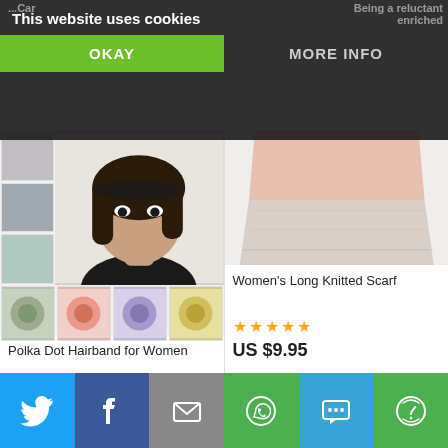This website uses cookies
OKAY
MORE INFO
[Figure (photo): Polka Dot Hairband for Women - product photo grid showing a woman wearing a polka dot hairband with multiple color variants]
Polka Dot Hairband for Women
★★★★★
US $7.95
[Figure (photo): Women's Long Knitted Scarf - product photo showing a triangular knitted scarf in pink, beige and grey colors]
Women's Long Knitted Scarf
★★★★★
US $9.95
Social sharing buttons: Twitter, Facebook, Email, WhatsApp, SMS, More